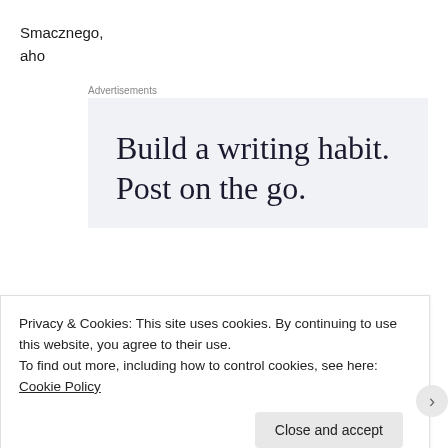Smacznego,
aho
Advertisements
[Figure (other): Advertisement box with text 'Build a writing habit. Post on the go.' on a light blue-grey background]
Privacy & Cookies: This site uses cookies. By continuing to use this website, you agree to their use.
To find out more, including how to control cookies, see here: Cookie Policy
Close and accept